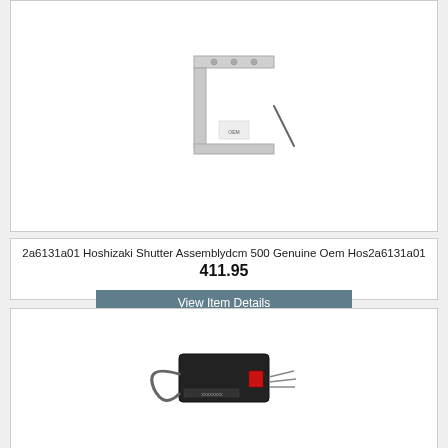[Figure (photo): Product photo of a metal bracket/shutter assembly part, L-shaped stainless steel with screws and a wire probe, shown on white background]
2a6131a01 Hoshizaki Shutter Assemblydcm 500 Genuine Oem Hos2a6131a01
411.95
View Item Details
[Figure (photo): Product photo of a small black rectangular electronic component/sensor with a red indicator light and cables/wires attached, shown on white background]